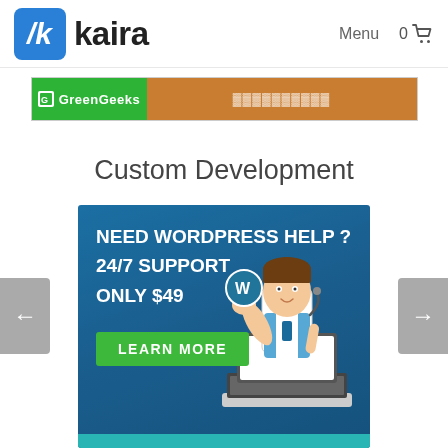[Figure (logo): Kaira logo with blue rounded square icon containing a stylized K and the text 'kaira']
Menu   0 🛒
[Figure (screenshot): Partially visible banner with green GreenGeeks logo section and orange button]
Custom Development
[Figure (infographic): WordPress help advertisement: NEED WORDPRESS HELP? 24/7 SUPPORT ONLY $49 with a cartoon character holding a WordPress logo coin emerging from a laptop, and a green LEARN MORE button]